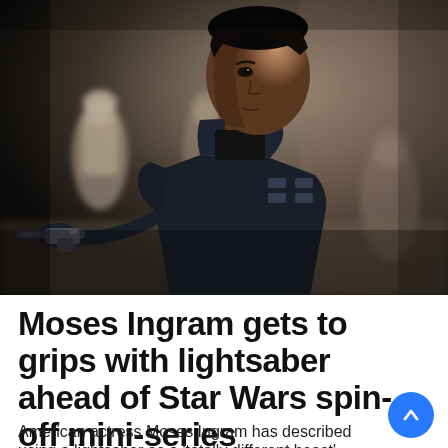[Figure (photo): Moses Ingram in dark tactical armor holding a blaster, looking intensely to the side, with robed figures blurred in the background — a still from the Star Wars spin-off series.]
Moses Ingram gets to grips with lightsaber ahead of Star Wars spin-off mini-series
American actress Moses Ingram has described using a lightsaber as a 'totally different beast'